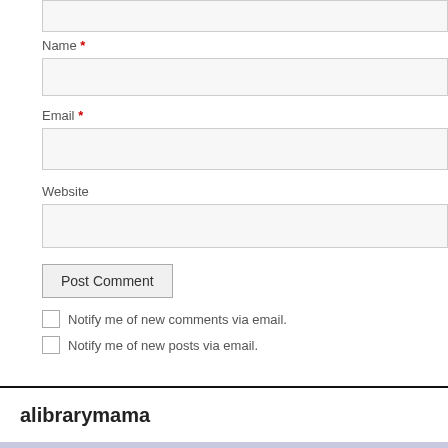Name *
Email *
Website
Post Comment
Notify me of new comments via email.
Notify me of new posts via email.
alibrarymama